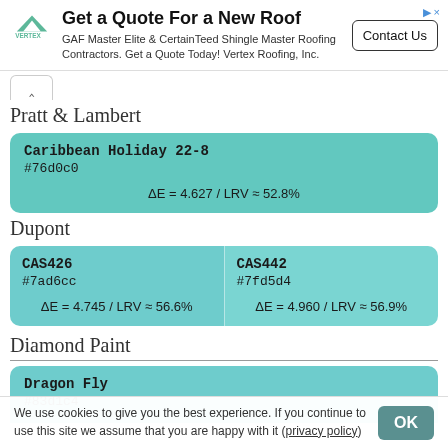[Figure (other): Advertisement banner: Get a Quote For a New Roof. GAF Master Elite & CertainTeed Shingle Master Roofing Contractors. Get a Quote Today! Vertex Roofing, Inc. Contact Us button.]
Pratt & Lambert
| Caribbean Holiday 22-8 | #76d0c0 | ΔE = 4.627 / LRV ≈ 52.8% |
Dupont
| CAS426 | #7ad6cc | ΔE = 4.745 / LRV ≈ 56.6% | CAS442 | #7fd5d4 | ΔE = 4.960 / LRV ≈ 56.9% |
Diamond Paint
| Dragon Fly | #83d1c4 |  |
We use cookies to give you the best experience. If you continue to use this site we assume that you are happy with it (privacy policy)